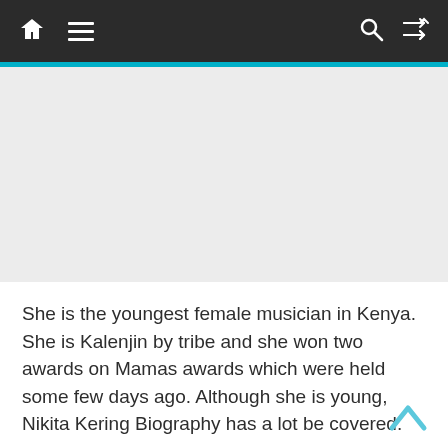Navigation bar with home, menu, search, and shuffle icons
[Figure (other): Advertisement / blank content area placeholder]
She is the youngest female musician in Kenya. She is Kalenjin by tribe and she won two awards on Mamas awards which were held some few days ago. Although she is young, Nikita Kering Biography has a lot be covered.
She came to the limelight after recording her first song known as “Tragedy”. The song has a very strong message which addresses relationship issues. Nikita Kering has a very strong